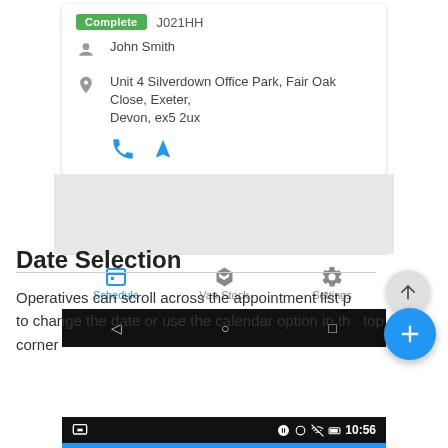[Figure (screenshot): Mobile app screenshot showing a job card with status 'Complete', job code 'J021HH', contact 'John Smith', address 'Unit 4 Silverdown Office Park, Fair Oak Close, Exeter, Devon, ex5 2ux', phone and navigation icons, a bottom navigation bar with Schedule (active/blue), Van Stock, and Settings tabs, and an Android system navigation bar.]
Date Selection
Operatives can scroll across the appointment list page to change the date or use the calendar option in the top corner
[Figure (screenshot): Partial mobile status bar showing notification icons and time 10:56, with a blue strip below.]